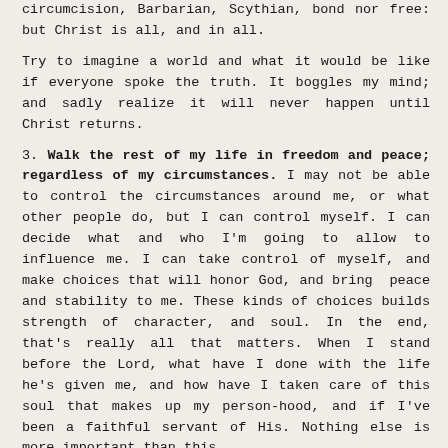circumcision, Barbarian, Scythian, bond nor free: but Christ is all, and in all.
Try to imagine a world and what it would be like if everyone spoke the truth. It boggles my mind; and sadly realize it will never happen until Christ returns.
3. Walk the rest of my life in freedom and peace; regardless of my circumstances. I may not be able to control the circumstances around me, or what other people do, but I can control myself. I can decide what and who I'm going to allow to influence me. I can take control of myself, and make choices that will honor God, and bring peace and stability to me. These kinds of choices builds strength of character, and soul. In the end, that's really all that matters. When I stand before the Lord, what have I done with the life he's given me, and how have I taken care of this soul that makes up my person-hood, and if I've been a faithful servant of His. Nothing else is more important than this.
On a national scale, the drawing the line in the sand is going on